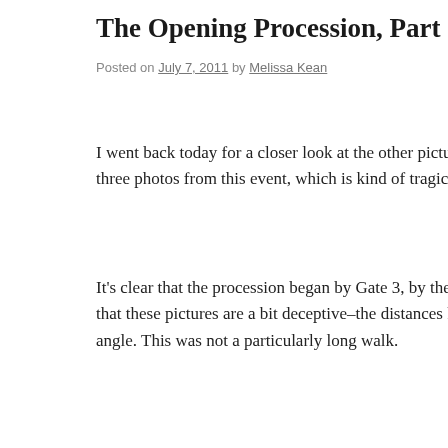The Opening Procession, Part II
Posted on July 7, 2011 by Melissa Kean
I went back today for a closer look at the other pictures of the ac three photos from this event, which is kind of tragic as you'll so
It's clear that the procession began by Gate 3, by the dormitorie that these pictures are a bit deceptive–the distances here are sma angle. This was not a particularly long walk.
[Figure (photo): A historical sepia-toned photograph showing a large open field with a procession of people in the middle distance. Buildings are visible in the background. People in period dress are visible in the foreground and scattered across the field.]